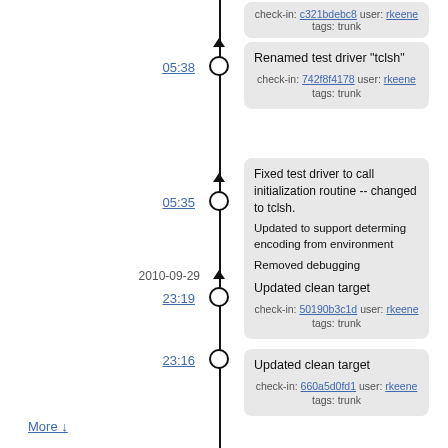check-in: c321bdebc8 user: rkeene tags: trunk
05:38
Renamed test driver "tclsh"
check-in: 742f8f4178 user: rkeene tags: trunk
05:35
Fixed test driver to call initialization routine -- changed to tclsh.

Updated to support determing encoding from environment

Removed debugging printfs/puts
check-in: 8fde0c7fbf user: rkeene tags: trunk
2010-09-29
23:19
Updated clean target
check-in: 50190b3c1d user: rkeene tags: trunk
23:16
Updated clean target
check-in: 660a5d0fd1 user: rkeene tags: trunk
More ↓